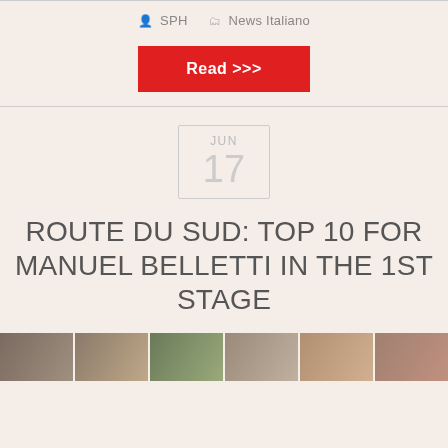SPH   News Italiano
Read >>>
JUN 17
ROUTE DU SUD: TOP 10 FOR MANUEL BELLETTI IN THE 1ST STAGE
[Figure (photo): A horizontal strip of small thumbnail images at the bottom of the page]